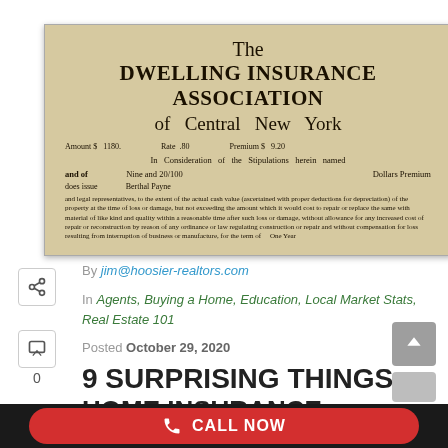[Figure (photo): Photograph of an old Dwelling Insurance Association of Central New York insurance policy document with fields for Amount ($1180), Rate (.80), Premium ($9.20), and policyholder Berthal Payne, for One Year term.]
By jim@hoosier-realtors.com
In Agents, Buying a Home, Education, Local Market Stats, Real Estate 101
Posted October 29, 2020
9 SURPRISING THINGS HOME INSURANCE